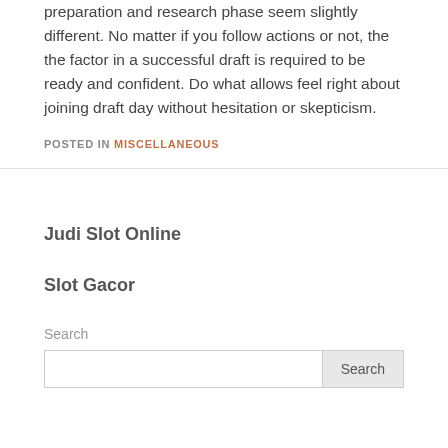preparation and research phase seem slightly different. No matter if you follow actions or not, the the factor in a successful draft is required to be ready and confident. Do what allows feel right about joining draft day without hesitation or skepticism.
POSTED IN MISCELLANEOUS
Judi Slot Online
Slot Gacor
Search